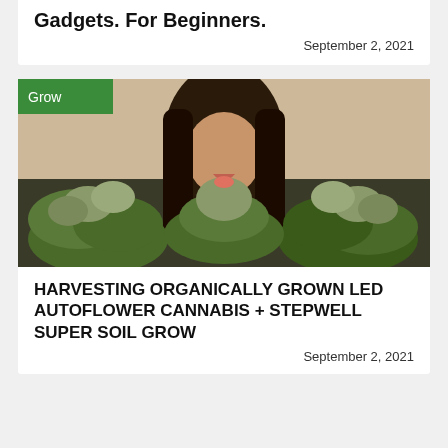Gadgets. For Beginners.
September 2, 2021
[Figure (photo): Woman smiling with tongue out behind large cannabis plants with buds, indoors. Green 'Grow' tag overlay in top-left corner.]
HARVESTING ORGANICALLY GROWN LED AUTOFLOWER CANNABIS + STEPWELL SUPER SOIL GROW
September 2, 2021